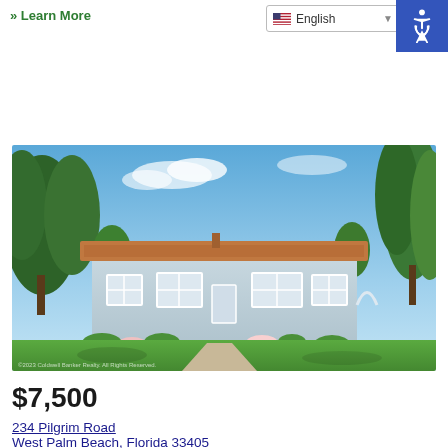» Learn More
English
[Figure (photo): Exterior photo of a light blue/grey single-story Florida home with terracotta tile roof, white windows, lush green lawn, palm trees, and tropical landscaping under a blue sky.]
$7,500
234 Pilgrim Road
West Palm Beach, Florida 33405